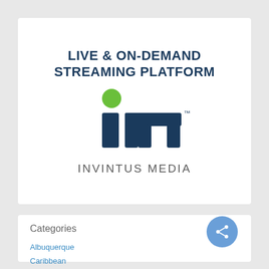LIVE & ON-DEMAND STREAMING PLATFORM
[Figure (logo): Invintus Media logo - stylized 'im' letters in dark navy blue with a green circle above the 'i', with a trademark symbol]
INVINTUS MEDIA
Categories
Albuquerque
Caribbean